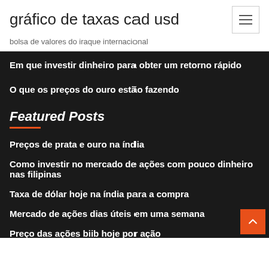gráfico de taxas cad usd
bolsa de valores do iraque internacional
Em que investir dinheiro para obter um retorno rápido
O que os preços do ouro estão fazendo
Featured Posts
Preços de prata e ouro na índia
Como investir no mercado de ações com pouco dinheiro nas filipinas
Taxa de dólar hoje na índia para a compra
Mercado de ações dias úteis em uma semana
Preço das ações biib hoje por ação